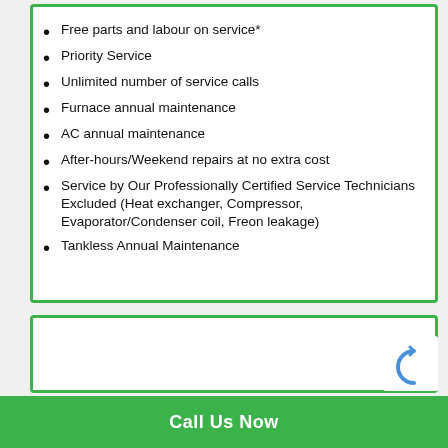Free parts and labour on service*
Priority Service
Unlimited number of service calls
Furnace annual maintenance
AC annual maintenance
After-hours/Weekend repairs at no extra cost
Service by Our Professionally Certified Service Technicians Excluded (Heat exchanger, Compressor, Evaporator/Condenser coil, Freon leakage)
Tankless Annual Maintenance
Call Us Now